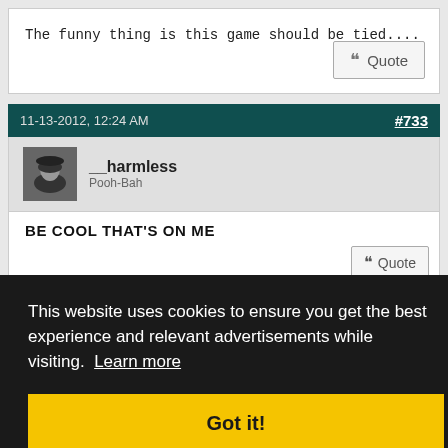The funny thing is this game should be tied....
Quote
11-13-2012, 12:24 AM
#733
__harmless
Pooh-Bah
BE COOL THAT'S ON ME
Quote
#734
Slipnot
Calgary Flames
Quote:
Originally Posted by Priptolite
This website uses cookies to ensure you get the best experience and relevant advertisements while visiting.  Learn more
Got it!